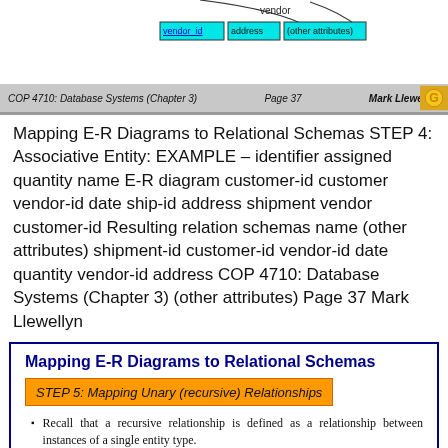[Figure (schematic): Diagram showing vendor entity with vendor_id, address, and other attributes boxes connected by lines. Footer bar with 'COP 4710: Database Systems (Chapter 3)', 'Page 37', 'Mark Llewellyn' and gold logo.]
Mapping E-R Diagrams to Relational Schemas STEP 4: Associative Entity: EXAMPLE – identifier assigned quantity name E-R diagram customer-id customer vendor-id date ship-id address shipment vendor customer-id Resulting relation schemas name (other attributes) shipment-id customer-id vendor-id date quantity vendor-id address COP 4710: Database Systems (Chapter 3) (other attributes) Page 37 Mark Llewellyn
[Figure (schematic): Slide box titled 'Mapping E-R Diagrams to Relational Schemas' with orange banner 'STEP 5: Mapping Unary (recursive) Relationships' and two bullet points about recursive relationships.]
Recall that a recursive relationship is defined as a relationship between instances of a single entity type.
The two most important cases of unary relationships are